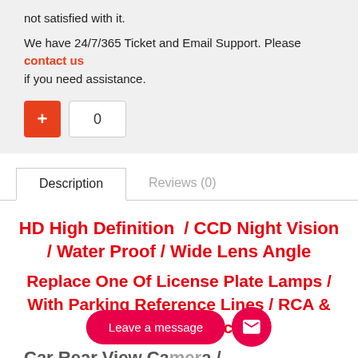not satisfied with it.
We have 24/7/365 Ticket and Email Support. Please contact us if you need assistance.
[Figure (other): Vote/like button with orange plus icon and count showing 0]
Description | Reviews (0)
HD High Definition / CCD Night Vision / Water Proof / Wide Lens Angle
Replace One Of License Plate Lamps / With Parking Reference Lines / RCA & Original Connector
Car Rear View Camera / Reverse Parking Camera / License Plate Lamp Camera